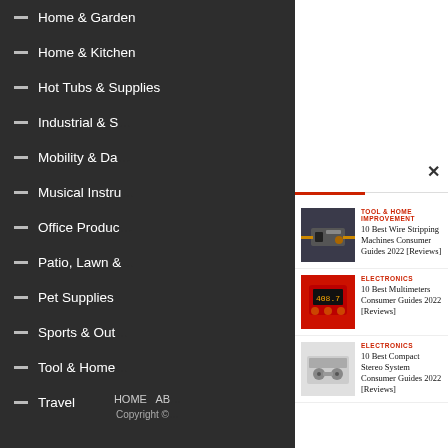— Home & Garden
— Home & Kitchen
— Hot Tubs & Supplies
— Industrial & S…
— Mobility & Da…
— Musical Instru…
— Office Produc…
— Patio, Lawn &…
— Pet Supplies
— Sports & Outo…
— Tool & Home…
— Travel
HOME  AB…   Copyright ©
[Figure (screenshot): Close button X in upper right of modal overlay]
[Figure (photo): Wire stripping machine in use, industrial setting]
TOOL & HOME IMPROVEMENT
10 Best Wire Stripping Machines Consumer Guides 2022 [Reviews]
[Figure (photo): Red digital multimeter showing reading 408.7]
ELECTRONICS
10 Best Multimeters Consumer Guides 2022 [Reviews]
[Figure (photo): Compact stereo system on white shelf]
ELECTRONICS
10 Best Compact Stereo System Consumer Guides 2022 [Reviews]